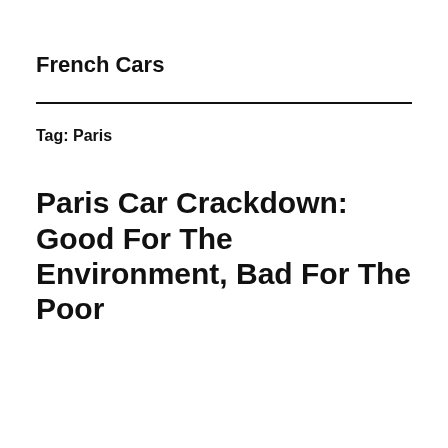French Cars
Tag: Paris
Paris Car Crackdown: Good For The Environment, Bad For The Poor